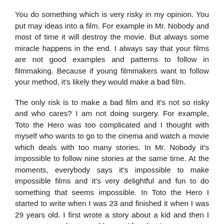You do something which is very risky in my opinion. You put may ideas into a film. For example in Mr. Nobody and most of time it will destroy the movie. But always some miracle happens in the end. I always say that your films are not good examples and patterns to follow in filmmaking. Because if young filmmakers want to follow your method, it's likely they would make a bad film.
The only risk is to make a bad film and it's not so risky and who cares? I am not doing surgery. For example, Toto the Hero was too complicated and I thought with myself who wants to go to the cinema and watch a movie which deals with too many stories. In Mr. Nobody it's impossible to follow nine stories at the same time. At the moments, everybody says it's impossible to make impossible films and it's very delightful and fun to do something that seems impossible. In Toto the Hero I started to write when I was 23 and finished it when I was 29 years old. I first wrote a story about a kid and then I wrote a story about an old man. After that I wrote a story about a teenage and it and the